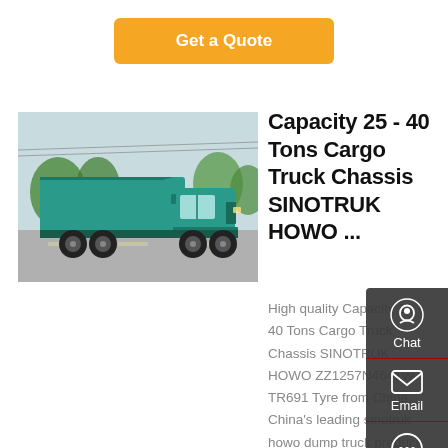Get a Quote
[Figure (photo): Teal/turquoise SINOTRUK HOWO dump truck on a road with trees in background]
Capacity 25 - 40 Tons Cargo Truck Chassis SINOTRUK HOWO ...
High quality Capacity 25 - 40 Tons Cargo Truck Chassis SINOTRUK HOWO ZZ1257N4641W TR691 Tyre from China, China's leading sinotruk howo dump truck product, with strict quality control lorry vehicle factories, producing